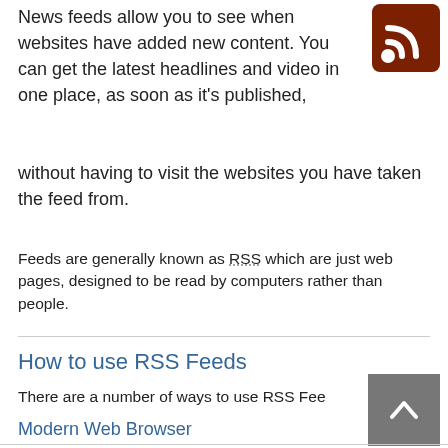[Figure (logo): RSS feed icon — dark red/brown square with white RSS signal symbol (two curved arcs and a dot)]
News feeds allow you to see when websites have added new content. You can get the latest headlines and video in one place, as soon as it's published, without having to visit the websites you have taken the feed from.
Feeds are generally known as RSS which are just web pages, designed to be read by computers rather than people.
How to use RSS Feeds
There are a number of ways to use RSS Feeds
Modern Web Browser